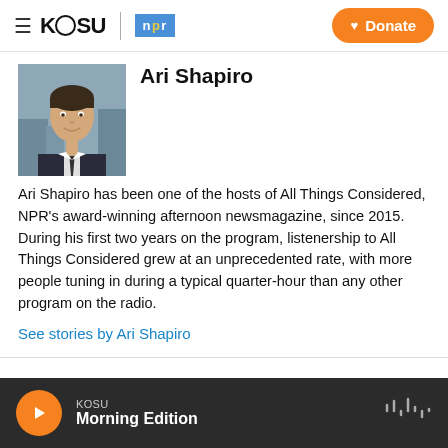KOSU | npr  Donate
Ari Shapiro
[Figure (photo): Headshot of Ari Shapiro, a man in a dark suit and tie, smiling, with a cityscape background]
Ari Shapiro has been one of the hosts of All Things Considered, NPR's award-winning afternoon newsmagazine, since 2015. During his first two years on the program, listenership to All Things Considered grew at an unprecedented rate, with more people tuning in during a typical quarter-hour than any other program on the radio.
See stories by Ari Shapiro
KOSU  Morning Edition